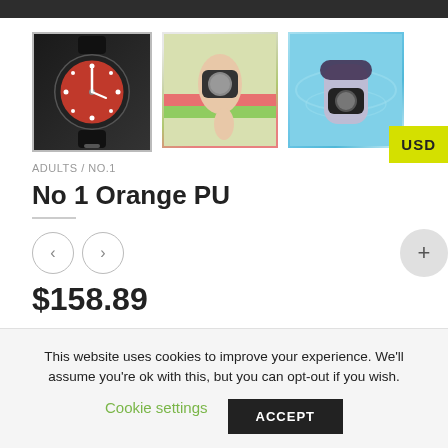[Figure (photo): Three product images of a watch: first shows close-up of watch with orange face and black strap, second shows the watch on a wrist outdoors, third shows the watch on a wrist near water]
ADULTS / NO.1
No 1 Orange PU
$158.89
This website uses cookies to improve your experience. We'll assume you're ok with this, but you can opt-out if you wish.
Cookie settings
ACCEPT